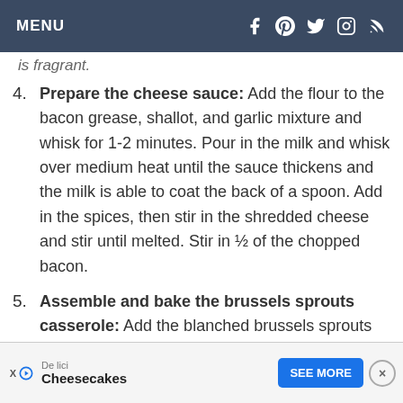MENU
is fragrant.
4. Prepare the cheese sauce: Add the flour to the bacon grease, shallot, and garlic mixture and whisk for 1-2 minutes. Pour in the milk and whisk over medium heat until the sauce thickens and the milk is able to coat the back of a spoon. Add in the spices, then stir in the shredded cheese and stir until melted. Stir in ½ of the chopped bacon.
5. Assemble and bake the brussels sprouts casserole: Add the blanched brussels sprouts into ... il